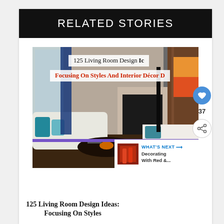RELATED STORIES
[Figure (photo): Living room interior with white sofa, teal pillows, dark wood coffee table, fireplace, and colorful artwork. Overlaid text reads '125 Living Room Design Ic' and 'Focusing On Styles And Interior Décor D']
125 Living Room Design Ideas: Focusing On Styles And Interior Décor Detail...